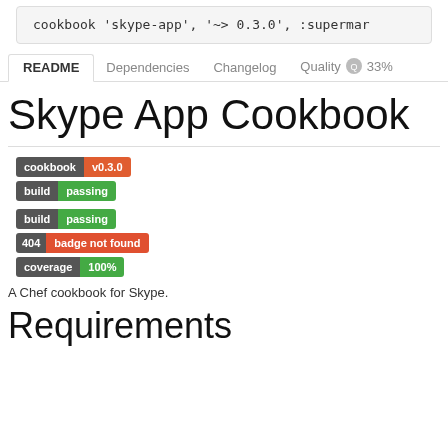cookbook 'skype-app', '~> 0.3.0', :supermar
README | Dependencies | Changelog | Quality 33%
Skype App Cookbook
[Figure (infographic): Badges: cookbook v0.3.0 (orange), build passing (green)]
[Figure (infographic): Badges: build passing (green), 404 badge not found (red), coverage 100% (green)]
A Chef cookbook for Skype.
Requirements